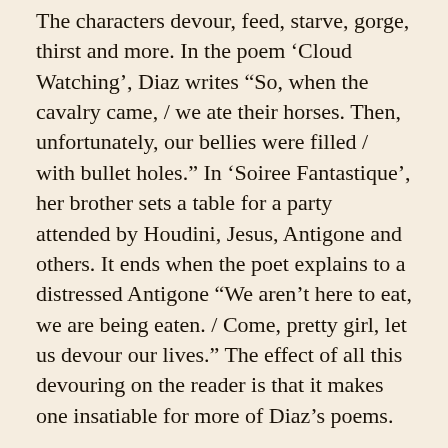The characters devour, feed, starve, gorge, thirst and more.  In the poem ‘Cloud Watching’, Diaz writes “So, when the cavalry came, / we ate their horses.  Then, unfortunately, our bellies were filled  / with bullet holes.”  In ‘Soiree Fantastique’, her brother sets a table for a party attended by Houdini, Jesus, Antigone and others.  It ends when the poet explains to a distressed Antigone “We aren’t here to eat, we are being eaten. / Come, pretty girl, let us devour our lives.”   The effect of all this devouring on the reader is that it makes one insatiable for more of Diaz’s poems.
There are three parts to the book.  The first section serves as an introduction to life on the